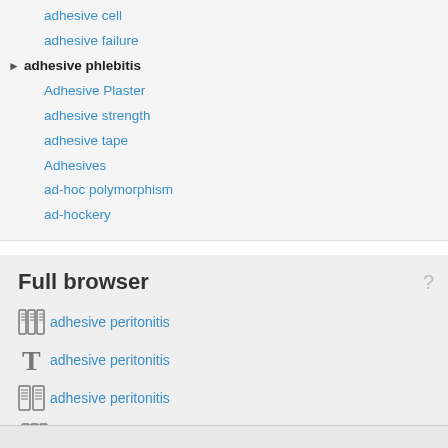adhesive cell
adhesive failure
adhesive phlebitis
Adhesive Plaster
adhesive strength
adhesive tape
Adhesives
ad-hoc polymorphism
ad-hockery
Full browser
adhesive peritonitis
adhesive peritonitis
adhesive peritonitis
adhesive phlebitis
adhesive plaster
adhesive plaster